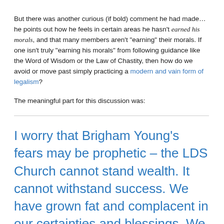But there was another curious (if bold) comment he had made...he points out how he feels in certain areas he hasn't earned his morals, and that many members aren't "earning" their morals. If one isn't truly "earning his morals" from following guidance like the Word of Wisdom or the Law of Chastity, then how do we avoid or move past simply practicing a modern and vain form of legalism?
The meaningful part for this discussion was:
I worry that Brigham Young's fears may be prophetic – the LDS Church cannot stand wealth. It cannot withstand success. We have grown fat and complacent in our certainties and blessings. We have taken our moral rightness for granted. We have taken our...